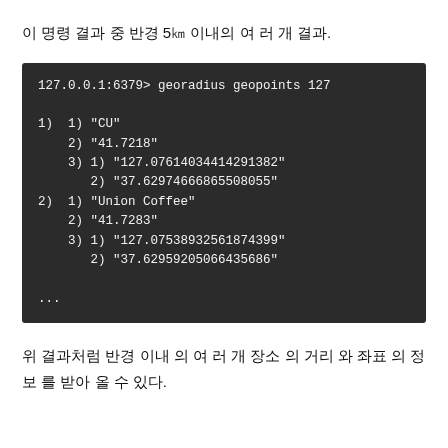이 명령 결과 중 반경 5㎞ 이내의 여 러 개 결과.
[Figure (screenshot): Terminal output showing georadius geopoints 127 command result with entries for CU and Union Coffee, each with distance and coordinate data.]
위 결과처럼 반경 이내 의 여 러 개 장소 의 거리 와 좌표 의 정보 를 받아 올 수 있다.